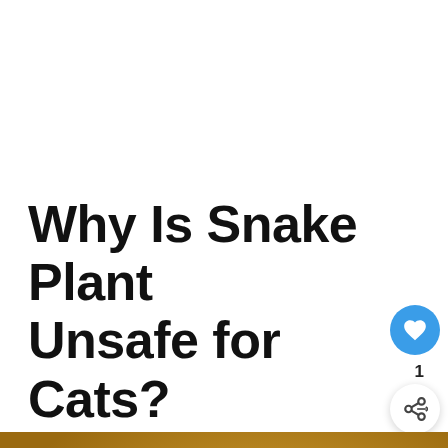Why Is Snake Plant Unsafe for Cats?
[Figure (photo): Snake plant (Sansevieria) leaves with yellow-green striped edges against an orange/brown background, with social sharing buttons and a 'What's Next' card overlay showing a thumbnail of a spider plant]